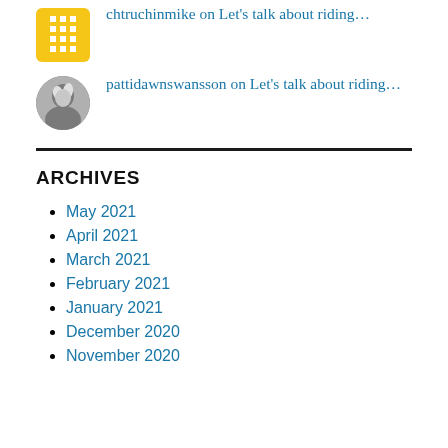chtruchinmike on Let's talk about riding…
pattidawnswansson on Let's talk about riding…
ARCHIVES
May 2021
April 2021
March 2021
February 2021
January 2021
December 2020
November 2020